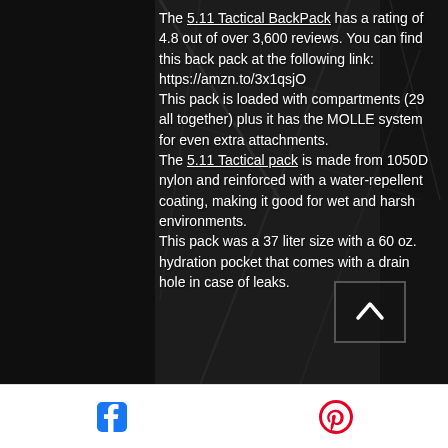[Figure (photo): Dark forest background with a person wearing a blue beanie hat carrying a camouflage backpack, surrounded by bare tree branches]
The 5.11 Tactical BackPack has a rating of 4.8 out of over 3,600 reviews. You can find this back pack at the following link: https://amzn.to/3x1qsjO This pack is loaded with compartments (29 all together) plus it has the MOLLE system for even extra attachments. The 5.11 Tactical pack is made from 1050D nylon and reinforced with a water-repellent coating, making it good for wet and harsh environments. This pack was a 37 liter size with a 60 oz. hydration pocket that comes with a drain hole in case of leaks.
[Facebook icon] [Pinterest icon]